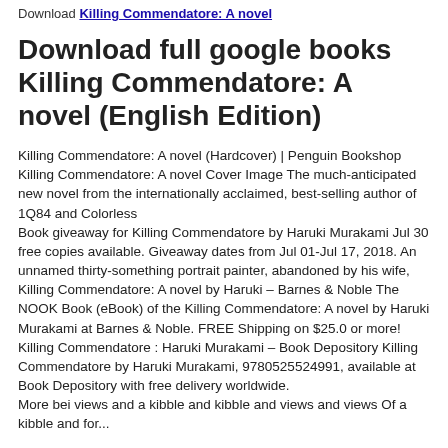Download Killing Commendatore: A novel
Download full google books Killing Commendatore: A novel (English Edition)
Killing Commendatore: A novel (Hardcover) | Penguin Bookshop Killing Commendatore: A novel Cover Image The much-anticipated new novel from the internationally acclaimed, best-selling author of 1Q84 and Colorless
Book giveaway for Killing Commendatore by Haruki Murakami Jul 30 free copies available. Giveaway dates from Jul 01-Jul 17, 2018. An unnamed thirty-something portrait painter, abandoned by his wife,
Killing Commendatore: A novel by Haruki – Barnes & Noble The NOOK Book (eBook) of the Killing Commendatore: A novel by Haruki Murakami at Barnes & Noble. FREE Shipping on $25.0 or more!
Killing Commendatore : Haruki Murakami – Book Depository Killing Commendatore by Haruki Murakami, 9780525524991, available at Book Depository with free delivery worldwide.